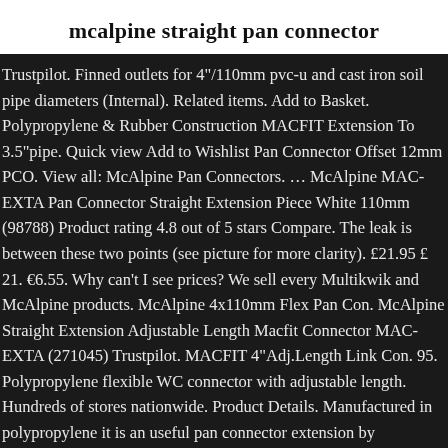mcalpine straight pan connector
Trustpilot. Finned outlets for 4"/110mm pvc-u and cast iron soil pipe diameters (Internal). Related items. Add to Basket. Polypropylene & Rubber Construction MACFIT Extension To 3.5"pipe. Quick view Add to Wishlist Pan Connector Offset 12mm PCO. View all: McAlpine Pan Connectors. … McAlpine MAC-EXTA Pan Connector Straight Extension Piece White 110mm (98788) Product rating 4.8 out of 5 stars Compare. The leak is between these two points (see picture for more clarity). £21.95 £ 21. €6.55. Why can't I see prices? We sell every Multikwik and McAlpine products. McAlpine 4x110mm Flex Pan Con. McAlpine Straight Extension Adjustable Length Macfit Connector MAC-EXTA (271045) Trustpilot. MACFIT 4"Adj.Length Link Con. 95. Polypropylene flexible WC connector with adjustable length. Hundreds of stores nationwide. Product Details. Manufactured in polypropylene it is an useful pan connector extension by McAlpine, this is a 97-107mm inlet x 3 1/2in/90mm outlet flexible WC connector. A leading supplier of plumbing fittings, McAlpine comes with a variety of high-quality and competitive